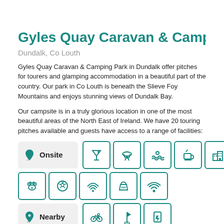Gyles Quay Caravan & Camping Park
Dundalk, Co Louth
Gyles Quay Caravan & Camping Park in Dundalk offer pitches for tourers and glamping accommodation in a beautiful part of the country. Our park in Co Louth is beneath the Slieve Foy Mountains and enjoys stunning views of Dundalk Bay.
Our campsite is in a truly glorious location in one of the most beautiful areas of the North East of Ireland. We have 20 touring pitches available and guests have access to a range of facilities:
[Figure (infographic): Onsite facilities icons: cocktail/bar, BBQ grill, swimming/wave, café/coffee, city/buildings, laundry, music/entertainment, parking, pets, football/sports, wifi/signal, basket/shop, wifi. Nearby facilities icons: cycling, golf, information/charging.]